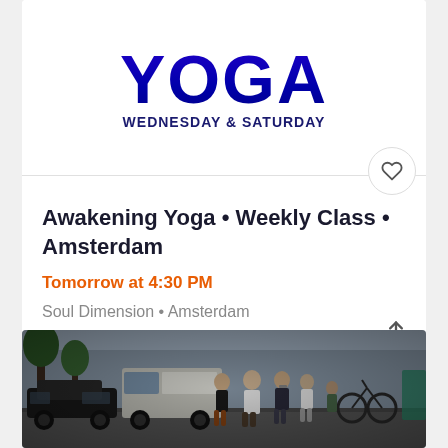YOGA
WEDNESDAY & SATURDAY
Awakening Yoga • Weekly Class • Amsterdam
Tomorrow at 4:30 PM
Soul Dimension • Amsterdam
$16.49
[Figure (photo): Street scene in Amsterdam with people walking on a busy urban street, cars parked nearby, trees in background]